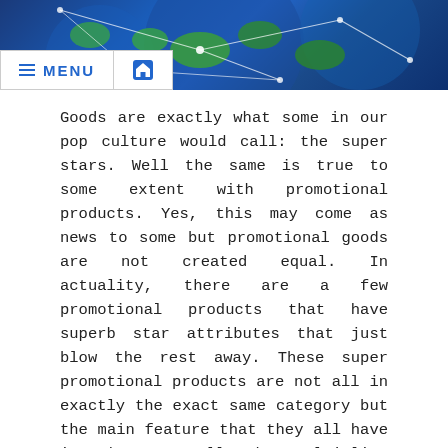[Figure (photo): Blue globe/earth decorative header image with green continents and white network lines, with a MENU and home icon navigation bar overlaid at the bottom.]
Goods are exactly what some in our pop culture would call: the super stars. Well the same is true to some extent with promotional products. Yes, this may come as news to some but promotional goods are not created equal. In actuality, there are a few promotional products that have superb star attributes that just blow the rest away. These super promotional products are not all in exactly the exact same category but the main feature that they all have is what I call the multiplier effect.
Simply put it is The capability of that article promotionnel merchandise to keep on boosting to continue giving off advertising impressions to more people than just the recipient. Regardless of what your advertising is you should first think about these super promotional goods before others. As these are